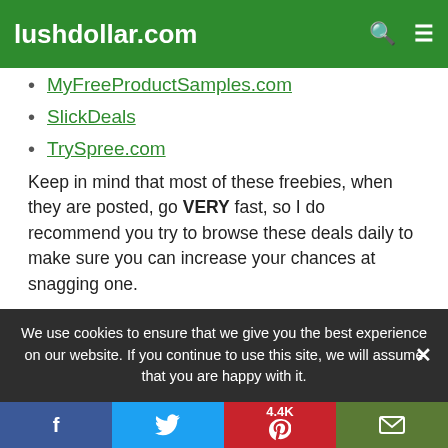lushdollar.com
MyFreeProductSamples.com
SlickDeals
TrySpree.com
Keep in mind that most of these freebies, when they are posted, go VERY fast, so I do recommend you try to browse these deals daily to make sure you can increase your chances at snagging one.
Also, avoid taking surveys or ever providing your credit card number.  A legit freebie will only ask for your email address and that's about it.  If in doubt, research the domain name
We use cookies to ensure that we give you the best experience on our website. If you continue to use this site, we will assume that you are happy with it.
f  [Twitter bird]  4.4K [Pinterest P]  [mail icon]